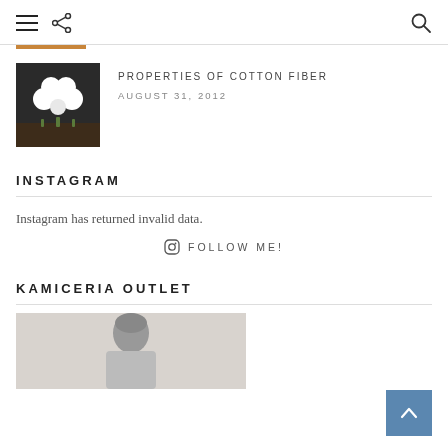Navigation header with hamburger menu, share icon, and search icon
[Figure (photo): Cotton fiber balls photo thumbnail]
PROPERTIES OF COTTON FIBER
AUGUST 31, 2012
INSTAGRAM
Instagram has returned invalid data.
FOLLOW ME!
KAMICERIA OUTLET
[Figure (photo): Man in formal shirt for Kamiceria Outlet section]